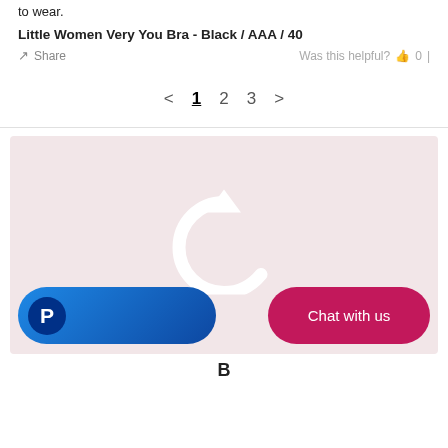to wear.
Little Women Very You Bra - Black / AAA / 40
Share   Was this helpful?  0
< 1 2 3 >
[Figure (screenshot): Pink/blush background section with a white circular refresh/undo arrow icon in the center, a PayPal button (blue gradient with P logo) on the lower left, and a pink 'Chat with us' button on the lower right.]
B